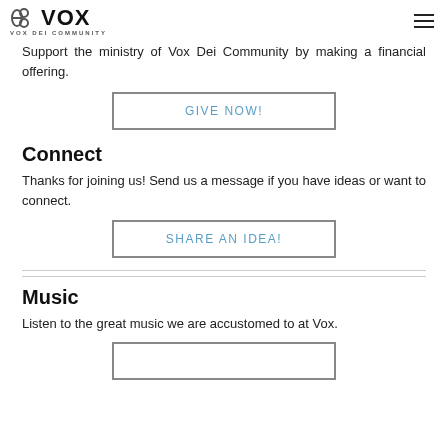VOX DEI COMMUNITY
Support the ministry of Vox Dei Community by making a financial offering.
GIVE NOW!
Connect
Thanks for joining us! Send us a message if you have ideas or want to connect.
SHARE AN IDEA!
Music
Listen to the great music we are accustomed to at Vox.